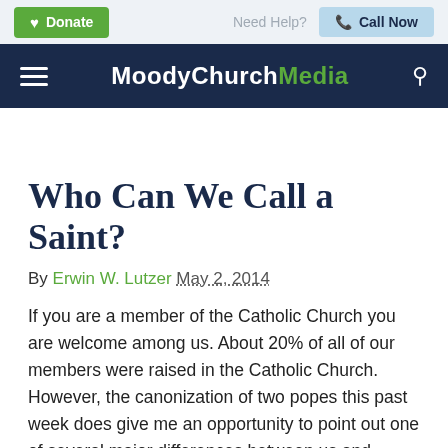Donate | Need Help? | Call Now
MoodyChurchMedia
Who Can We Call a Saint?
By Erwin W. Lutzer May 2, 2014
If you are a member of the Catholic Church you are welcome among us. About 20% of all of our members were raised in the Catholic Church.  However, the canonization of two popes this past week does give me an opportunity to point out one of several major differences between us and Roman Catholicism.